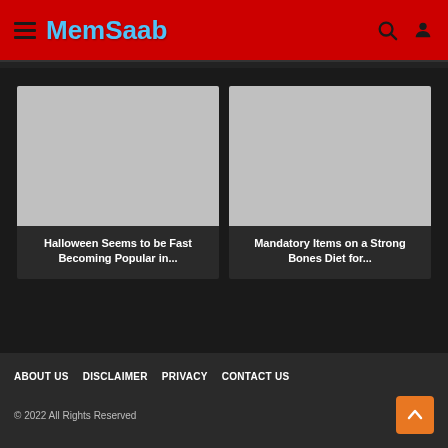MemSaab
[Figure (screenshot): Placeholder image for Halloween article card]
Halloween Seems to be Fast Becoming Popular in...
[Figure (screenshot): Placeholder image for Mandatory Items article card]
Mandatory Items on a Strong Bones Diet for...
ABOUT US   DISCLAIMER   PRIVACY   CONTACT US
© 2022 All Rights Reserved